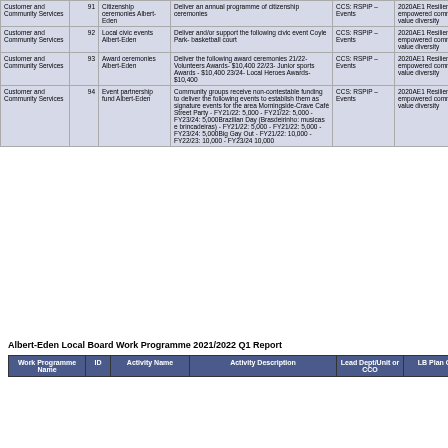| Work Programme Name | ID | Activity Name | Activity Description | Lead Dept/Unit or CCO | LB Plan Outcome |
| --- | --- | --- | --- | --- | --- |
| Customer and Community Services | 91 | Citizenship ceremonies Albert-Eden | Deliver an annual programme of citizenship ceremonies | CCS: RSPiP – Events | 2020AE1 Resilient, connected, empowered communities who value diversity |
| Customer and Community Services | 92 | Local civic events Albert-Eden | Deliver and/or support the following civic event Coyle Park- basketball court | CCS: RSPiP – Events | 2020AE1 Resilient, connected, empowered communities who value diversity |
| Customer and Community Services | 93 | Award ceremonies Albert-Eden | Deliver the following award ceremonies 21/22- Volunteers Awards- $10,400 22/23- Junior sports Awards - $10,400 23/24- Local Heroes Awards- $10,400 | CCS: RSPiP – Events | 2020AE1 Resilient, connected, empowered communities who value diversity |
| Customer and Community Services | 94 | Event partnership fund Albert-Eden | Community groups receive non-contestable funding to deliver the following events to establish them as signature events for the area Morningside-Crave Café Street Party - FY21/22: 5,000 - FY21/22: 5,000 - FY23/24: 5,000 Brazilian Day (Brasdeirinho: musicas e brincadeiras) - FY21/22: 5,000 - FY21/22: 5,000 - FY23/24: 5,000 Big Gay Out - FY21/22: 10,000 - FY22/23: 10,000 - FY23/24 10,000 | CCS: RSPiP – Events | 2020AE1 Resilient, connected, empowered communities who value diversity |
Albert-Eden Local Board Work Programme 2021/2022 Q1 Report
| Work Programme Name | ID | Activity Name | Activity Description | Lead Dept/Unit or CCO | LB Plan Outcome |
| --- | --- | --- | --- | --- | --- |